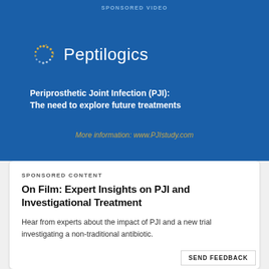SPONSORED VIDEO
[Figure (logo): Peptilogics logo — a circular dotted ring icon in gold/white on blue background, followed by the text 'Peptilogics' in white]
Periprosthetic Joint Infection (PJI): The need to explore future treatments
More information: www.PJIstudy.com
SPONSORED CONTENT
On Film: Expert Insights on PJI and Investigational Treatment
Hear from experts about the impact of PJI and a new trial investigating a non-traditional antibiotic.